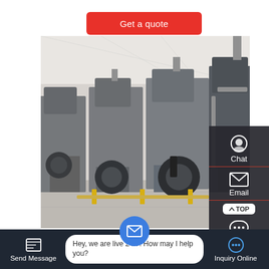[Figure (other): Red rounded rectangle button labeled 'Get a quote']
[Figure (photo): Industrial boiler room with multiple large gray steam boilers and blue burner units lined up in a clean white facility]
[Figure (other): Side panel with dark background showing Chat (headset icon), Email (envelope icon), TOP button, and Contact (speech bubble icon) options]
Marine Boiler Price - Buy Cheap Marine Boiler At Low Price On …
[Figure (other): Bottom navigation bar with Send Message icon, live chat bubble saying 'Hey, we are live 24/7. How may I help you?', blue email circle icon, and Inquiry Online option]